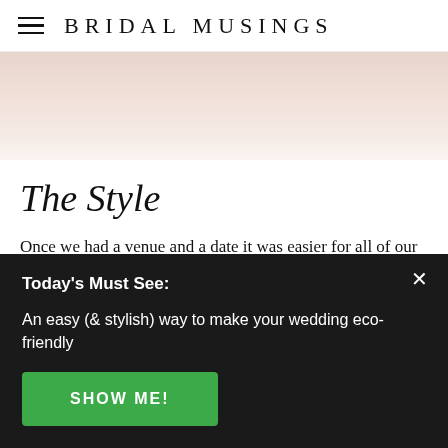BRIDAL MUSINGS
[Figure (photo): Cropped close-up photo of a bride, soft pink/peach tones, partial face visible]
The Style
Once we had a venue and a date it was easier for all of our other details to fall into place. I wanted a
Today's Must See:
An easy (& stylish) way to make your wedding eco-friendly
SHOW ME!